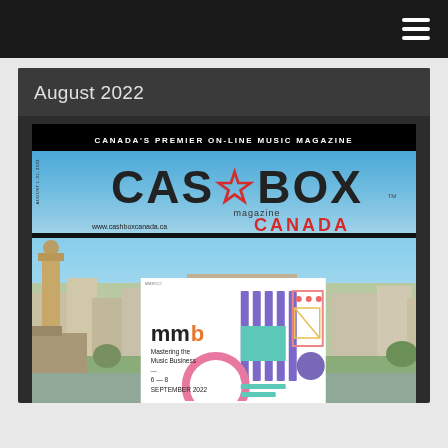Navigation bar with hamburger menu
August 2022
[Figure (photo): Cashbox Canada magazine cover for August 2022 showing the magazine logo banner 'Canada's Premier On-Line Music Magazine' with the Cashbox Canada logo, a city skyline photo (Bucharest), and an event overlay for 'Mastering the Music Business, 6-8 September 2022']